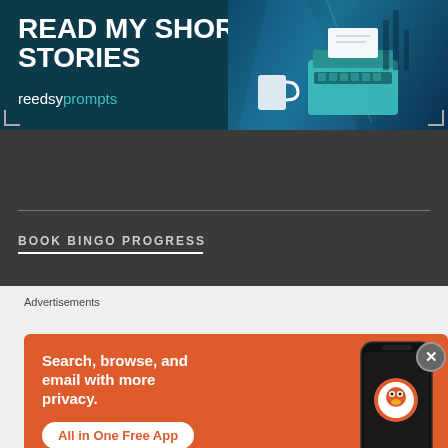[Figure (illustration): Reedsy Prompts banner advertisement with text 'READ MY SHORT STORIES' in large white bold type, 'reedsy prompts' branding below, and a typewriter illustration on a dark teal background]
BOOK BINGO PROGRESS
[Figure (screenshot): Book Bingo progress card showing '2022' and URL 'lj-holmes.com/sf-book-bingo-cards/' on a gray background with book cover thumbnails at bottom]
Advertisements
[Figure (illustration): DuckDuckGo advertisement on orange background: 'Search, browse, and email with more privacy. All in One Free App' with DuckDuckGo logo and phone mockup]